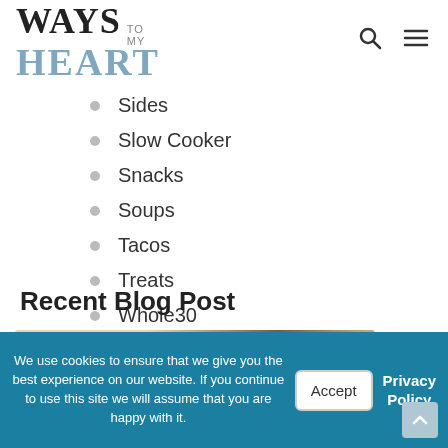WAYS TO MY HEART
Sides
Slow Cooker
Snacks
Soups
Tacos
Treats
Whole30
Recent Blog Post
[Figure (photo): Food photo showing a dark circular container with natural product label and crackers/food items on a light background]
We use cookies to ensure that we give you the best experience on our website. If you continue to use this site we will assume that you are happy with it.